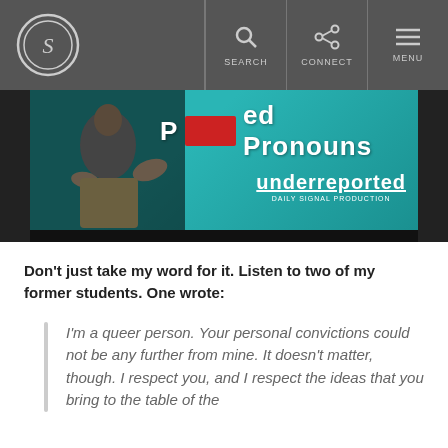[Figure (screenshot): Website navigation bar with a circular S logo on left and SEARCH, CONNECT, MENU icons on right, on a dark gray background]
[Figure (photo): Thumbnail image showing a person sitting on a desk in front of a teal/turquoise background with text 'Preferred Pronouns' and 'underreported' branding. A red block covers part of the title word.]
Don’t just take my word for it. Listen to two of my former students. One wrote:
I’m a queer person. Your personal convictions could not be any further from mine. It doesn’t matter, though. I respect you, and I respect the ideas that you bring to the table of the